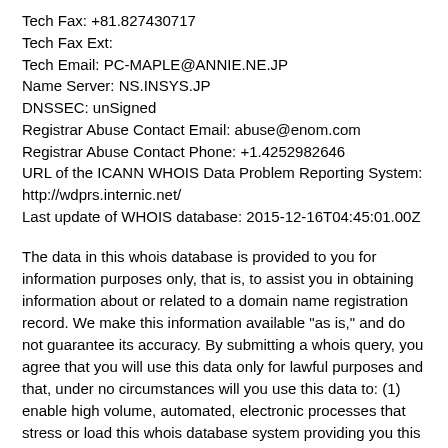Tech Fax: +81.827430717
Tech Fax Ext:
Tech Email: PC-MAPLE@ANNIE.NE.JP
Name Server: NS.INSYS.JP
DNSSEC: unSigned
Registrar Abuse Contact Email: abuse@enom.com
Registrar Abuse Contact Phone: +1.4252982646
URL of the ICANN WHOIS Data Problem Reporting System: http://wdprs.internic.net/
Last update of WHOIS database: 2015-12-16T04:45:01.00Z
The data in this whois database is provided to you for information purposes only, that is, to assist you in obtaining information about or related to a domain name registration record. We make this information available "as is," and do not guarantee its accuracy. By submitting a whois query, you agree that you will use this data only for lawful purposes and that, under no circumstances will you use this data to: (1) enable high volume, automated, electronic processes that stress or load this whois database system providing you this information; or (2) allow, enable, or otherwise support the transmission of mass unsolicited, commercial advertising or solicitations via direct mail, electronic